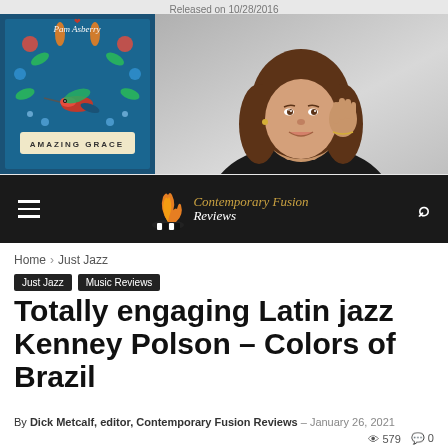Released on 10/28/2016
[Figure (photo): Album cover for 'Amazing Grace' by Pam Asberry - blue background with hummingbird and floral design]
[Figure (photo): Portrait photo of a smiling woman with long brown hair, resting her chin on her hand, wearing black]
Contemporary Fusion Reviews
Home › Just Jazz
Just Jazz
Music Reviews
Totally engaging Latin jazz Kenney Polson – Colors of Brazil
By Dick Metcalf, editor, Contemporary Fusion Reviews – January 26, 2021
579 views · 0 comments